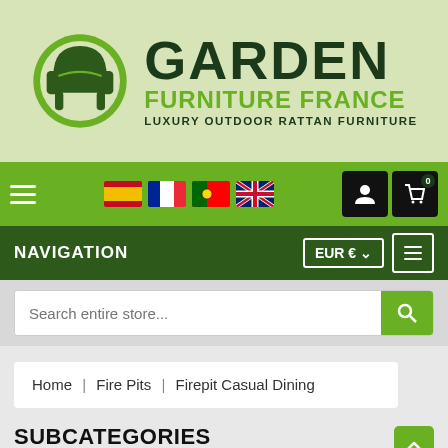[Figure (logo): Garden Furniture France logo: circular green armchair icon with text GARDEN FURNITURE FRANCE LUXURY OUTDOOR RATTAN FURNITURE]
[Figure (screenshot): Green navigation bar with hamburger menu, country flag icons (Spain, France, Portugal, UK), user account icon and shopping cart icon with badge 0]
[Figure (screenshot): Dark green navigation bar with NAVIGATION label, EUR currency selector, and hamburger menu button]
[Figure (screenshot): Search bar with placeholder text 'Search entire store...' and green search button]
Home | Fire Pits | Firepit Casual Dining
SUBCATEGORIES